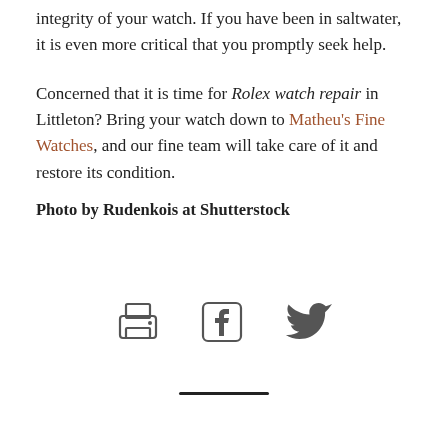integrity of your watch. If you have been in saltwater, it is even more critical that you promptly seek help.
Concerned that it is time for Rolex watch repair in Littleton? Bring your watch down to Matheu's Fine Watches, and our fine team will take care of it and restore its condition.
Photo by Rudenkois at Shutterstock
[Figure (other): Three social sharing icons: printer, Facebook, and Twitter]
[Figure (other): Horizontal divider line]